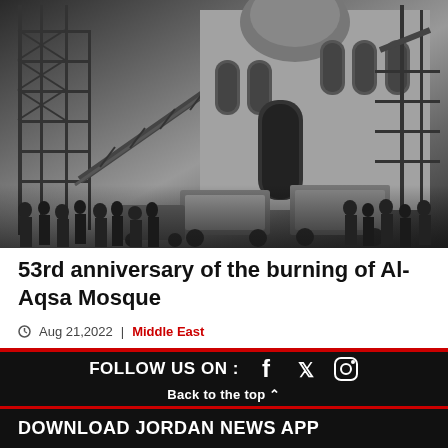[Figure (photo): Black and white historical photograph showing Al-Aqsa Mosque with scaffolding on the left side, fire ladders raised against the building, crowds of people gathered in front, and crane equipment visible on the right. The mosque dome and stone facade are visible.]
53rd anniversary of the burning of Al-Aqsa Mosque
Aug 21,2022  |  Middle East
FOLLOW US ON :
Back to the top ^
DOWNLOAD JORDAN NEWS APP